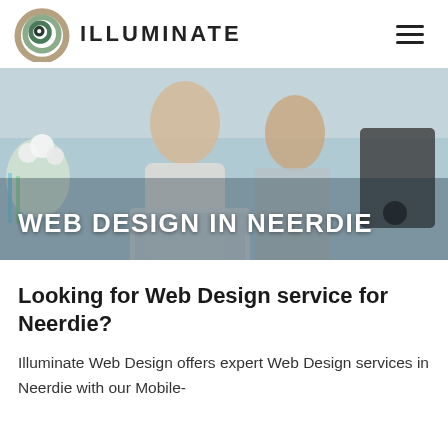ILLUMINATE
[Figure (photo): Hero photo of a man and woman smiling and looking at a laptop in a kitchen setting, with white text overlay reading WEB DESIGN IN NEERDIE]
Looking for Web Design service for Neerdie?
Illuminate Web Design offers expert Web Design services in Neerdie with our Mobile-